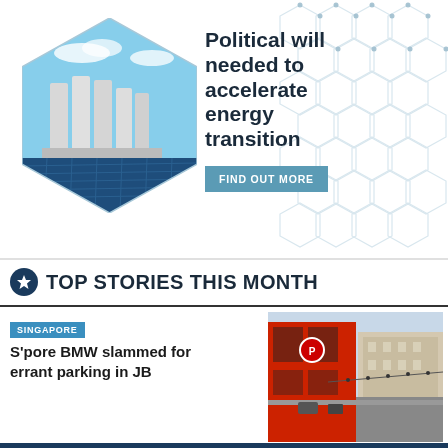[Figure (infographic): Advertisement banner with hexagonal photo of solar panels and industrial silos, hexagon pattern background, bold headline 'Political will needed to accelerate energy transition', and 'FIND OUT MORE' button]
TOP STORIES THIS MONTH
SINGAPORE
S'pore BMW slammed for errant parking in JB
[Figure (photo): Street photo showing colorful shophouses in what appears to be Johor Bahru, Malaysia, with red building facade on the left and colonial-style buildings on the right]